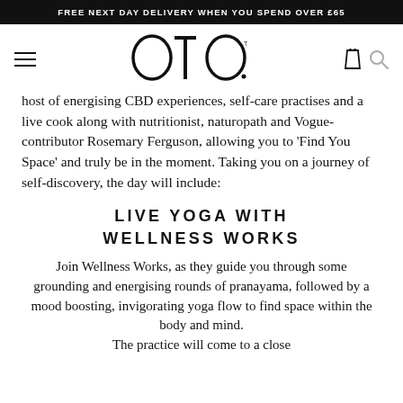FREE NEXT DAY DELIVERY WHEN YOU SPEND OVER £65
[Figure (logo): OTO brand logo with hamburger menu, bag icon, and search icon]
host of energising CBD experiences, self-care practises and a live cook along with nutritionist, naturopath and Vogue-contributor Rosemary Ferguson, allowing you to 'Find You Space' and truly be in the moment. Taking you on a journey of self-discovery, the day will include:
LIVE YOGA WITH WELLNESS WORKS
Join Wellness Works, as they guide you through some grounding and energising rounds of pranayama, followed by a mood boosting, invigorating yoga flow to find space within the body and mind. The practice will come to a close